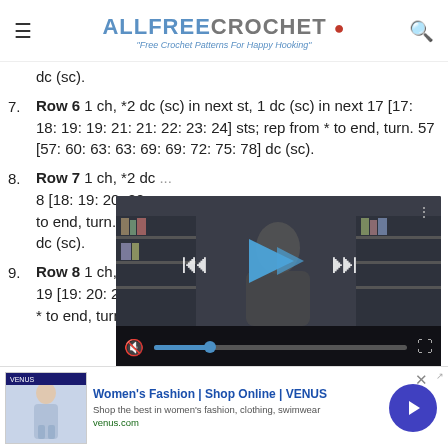ALLFREECROCHET • "Free Crochet Patterns For Happy Hooking"
dc (sc).
Row 6 1 ch, *2 dc (sc) in next st, 1 dc (sc) in next 17 [17: 18: 19: 19: 21: 21: 22: 23: 24] sts; rep from * to end, turn. 57 [57: 60: 63: 63: 69: 69: 72: 75: 78] dc (sc).
Row 7 1 ch, *2 dc ... 8 [18: 19: 20: 20: ... to end, turn. 60 [... dc (sc).
Row 8 1 ch, *2 dc ... 19 [19: 20: 21: 21: 23: 23: 24: 25: 26] sts; rep from * to end, turn. 63 [63: 66: 69: 69: 75: 75: 78: 81: 84]
[Figure (screenshot): Video player overlay showing a person in a library/bookshelf setting, with playback controls (play, skip, mute, seek bar, fullscreen) visible]
[Figure (screenshot): Advertisement banner for VENUS Women's Fashion with a fashion model photo, text 'Women's Fashion | Shop Online | VENUS', subtitle 'Shop the best in women's fashion, clothing, swimwear', URL venus.com, and a circular purple arrow button]